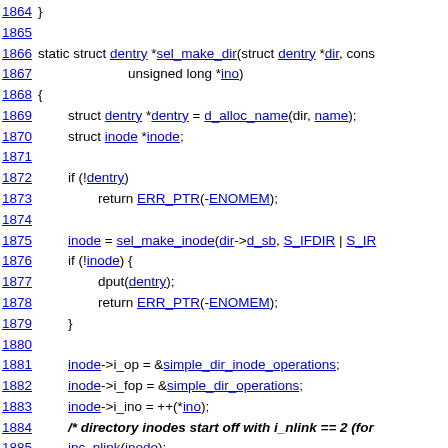1864 }
1865
1866 static struct dentry *sel_make_dir(struct dentry *dir, cons
1867                         unsigned long *ino)
1868 {
1869         struct dentry *dentry = d_alloc_name(dir, name);
1870         struct inode *inode;
1871
1872         if (!dentry)
1873                 return ERR_PTR(-ENOMEM);
1874
1875         inode = sel_make_inode(dir->d_sb, S_IFDIR | S_IR
1876         if (!inode) {
1877                 dput(dentry);
1878                 return ERR_PTR(-ENOMEM);
1879         }
1880
1881         inode->i_op = &simple_dir_inode_operations;
1882         inode->i_fop = &simple_dir_operations;
1883         inode->i_ino = ++(*ino);
1884         /* directory inodes start off with i_nlink == 2 (for
1885         inc_nlink(inode);
1886         d_add(dentry, inode);
1887         /* bump link count on parent directory, too */
1888         inc_nlink(d_inode(dir));